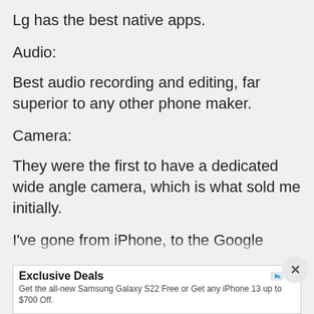Lg has the best native apps.
Audio:
Best audio recording and editing, far superior to any other phone maker.
Camera:
They were the first to have a dedicated wide angle camera, which is what sold me initially.
I've gone from iPhone, to the Google
[Figure (screenshot): Advertisement banner: Exclusive Deals - Get the all-new Samsung Galaxy S22 Free or Get any iPhone 13 up to $700 Off. attlocalretail.com with OPEN button. Also shows a close (X) button in the top right corner.]